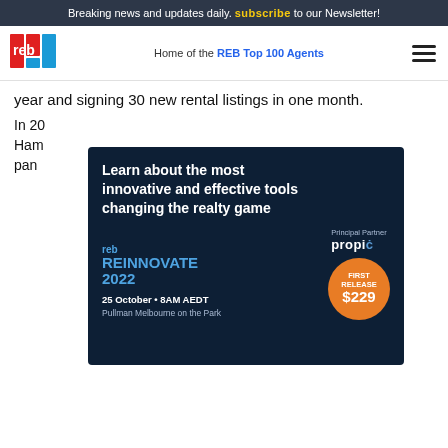Breaking news and updates daily. subscribe to our Newsletter!
[Figure (logo): REB logo - red and blue letter blocks spelling 'reb']
Home of the REB Top 100 Agents
year and signing 30 new rental listings in one month.
[Figure (infographic): REB Reinnovate 2022 advertisement banner. Text: Learn about the most innovative and effective tools changing the realty game. REB REINNOVATE 2022. Principal Partner: propic. FIRST RELEASE $229. 25 October • 8AM AEDT Pullman Melbourne on the Park]
Tara... National... prop... written... Journal... helping helpful tips for BDMs.
In 2013, Tara started the BDM Academy and has been contracted to consult for a variety comp... Zeal...
[Figure (infographic): Pricefinder Agent Solutions advertisement. Want to create digital appraisals that will stand out? Get Pricefinder. There's a solution for that.]